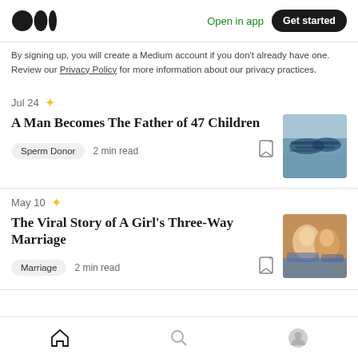Open in app | Get started
By signing up, you will create a Medium account if you don't already have one. Review our Privacy Policy for more information about our privacy practices.
Jul 24 ★
A Man Becomes The Father of 47 Children
Sperm Donor  2 min read
May 10 ★
The Viral Story of A Girl's Three-Way Marriage
Marriage  2 min read
Home | Search | Profile